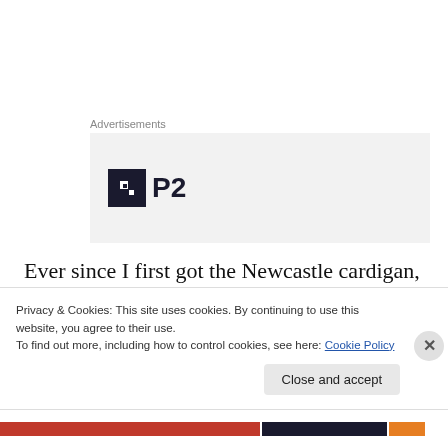Advertisements
[Figure (logo): P2 logo on grey advertisement background]
Ever since I first got the Newcastle cardigan, like two years ago? I've wanted to make a version for my father. If only because I thought he might wear it and I know my husband won't. The hold up was the fabric—nothing
Privacy & Cookies: This site uses cookies. By continuing to use this website, you agree to their use.
To find out more, including how to control cookies, see here: Cookie Policy
Close and accept